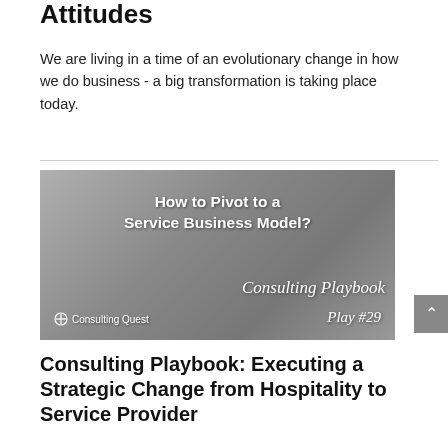Attitudes
We are living in a time of an evolutionary change in how we do business - a big transformation is taking place today.
[Figure (illustration): Dark-themed banner image with a hand holding keys in the background. Text overlay reads 'How to Pivot to a Service Business Model?' with 'Consulting Playbook' in cursive script, 'Play #29' at bottom right, and the Consulting Quest logo at bottom left.]
Consulting Playbook: Executing a Strategic Change from Hospitality to Service Provider